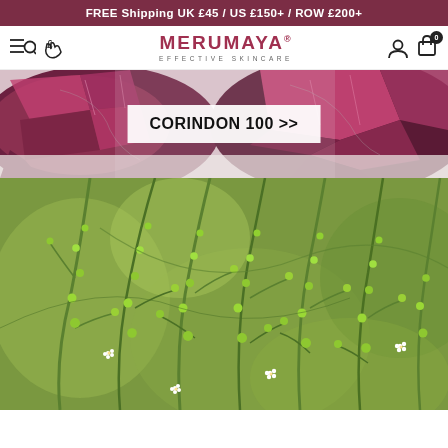FREE Shipping UK £45 / US £150+ / ROW £200+
[Figure (logo): Merumaya Effective Skincare logo with navigation icons (hamburger menu, currency icon, account icon, cart icon)]
[Figure (photo): Close-up photo of pink/red mineral crystal (corundum/ruby) on white surface, partially cropped]
CORINDON 100 >>
[Figure (photo): Close-up macro photo of green plant stems with small round buds and tiny white flowers against blurred green background]